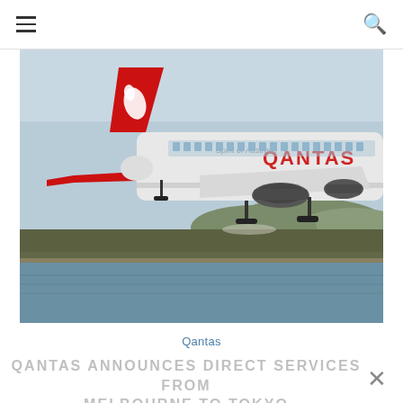☰  🔍
[Figure (photo): A Qantas Airbus aircraft on the runway, showing the red kangaroo tail livery, QANTAS branding on fuselage, Spirit of Australia text, and landing gear deployed, with water and hills in the background.]
Qantas
QANTAS ANNOUNCES DIRECT SERVICES FROM MELBOURNE TO TOKYO